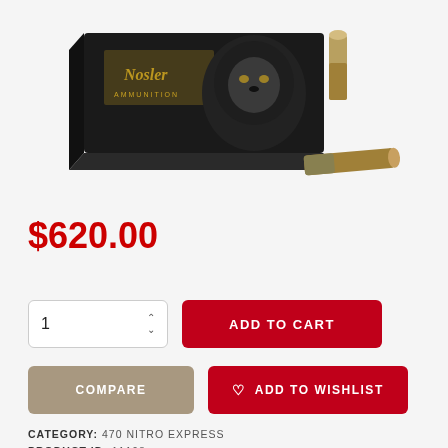[Figure (photo): Nosler Ammunition box with lion graphic and two rifle cartridges/bullets displayed beside it]
$620.00
1
ADD TO CART
COMPARE
ADD TO WISHLIST
CATEGORY: 470 NITRO EXPRESS
PRODUCT ID: 11198